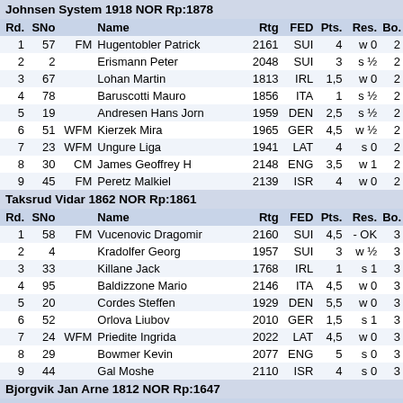Johnsen System 1918 NOR Rp:1878
| Rd. | SNo |  | Name | Rtg | FED | Pts. | Res. | Bo. |
| --- | --- | --- | --- | --- | --- | --- | --- | --- |
| 1 | 57 | FM | Hugentobler Patrick | 2161 | SUI | 4 | w 0 | 2 |
| 2 | 2 |  | Erismann Peter | 2048 | SUI | 3 | s ½ | 2 |
| 3 | 67 |  | Lohan Martin | 1813 | IRL | 1,5 | w 0 | 2 |
| 4 | 78 |  | Baruscotti Mauro | 1856 | ITA | 1 | s ½ | 2 |
| 5 | 19 |  | Andresen Hans Jorn | 1959 | DEN | 2,5 | s ½ | 2 |
| 6 | 51 | WFM | Kierzek Mira | 1965 | GER | 4,5 | w ½ | 2 |
| 7 | 23 | WFM | Ungure Liga | 1941 | LAT | 4 | s 0 | 2 |
| 8 | 30 | CM | James Geoffrey H | 2148 | ENG | 3,5 | w 1 | 2 |
| 9 | 45 | FM | Peretz Malkiel | 2139 | ISR | 4 | w 0 | 2 |
Taksrud Vidar 1862 NOR Rp:1861
| Rd. | SNo |  | Name | Rtg | FED | Pts. | Res. | Bo. |
| --- | --- | --- | --- | --- | --- | --- | --- | --- |
| 1 | 58 | FM | Vucenovic Dragomir | 2160 | SUI | 4,5 | - OK | 3 |
| 2 | 4 |  | Kradolfer Georg | 1957 | SUI | 3 | w ½ | 3 |
| 3 | 33 |  | Killane Jack | 1768 | IRL | 1 | s 1 | 3 |
| 4 | 95 |  | Baldizzone Mario | 2146 | ITA | 4,5 | w 0 | 3 |
| 5 | 20 |  | Cordes Steffen | 1929 | DEN | 5,5 | w 0 | 3 |
| 6 | 52 |  | Orlova Liubov | 2010 | GER | 1,5 | s 1 | 3 |
| 7 | 24 | WFM | Priedite Ingrida | 2022 | LAT | 4,5 | w 0 | 3 |
| 8 | 29 |  | Bowmer Kevin | 2077 | ENG | 5 | s 0 | 3 |
| 9 | 44 |  | Gal Moshe | 2110 | ISR | 4 | s 0 | 3 |
Bjorgvik Jan Arne 1812 NOR Rp:1647
| Rd. | SNo |  | Name | Rtg | FED | Pts. | Res. | Bo. |
| --- | --- | --- | --- | --- | --- | --- | --- | --- |